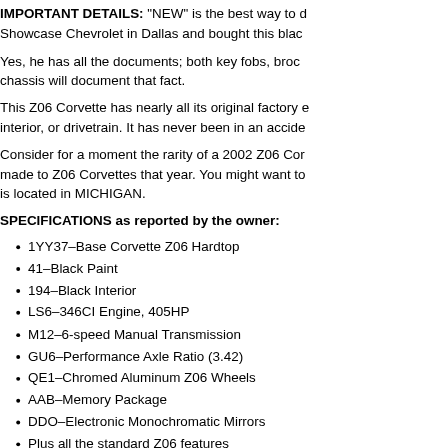IMPORTANT DETAILS: "NEW" is the best way to describe this car. Showcase Chevrolet in Dallas and bought this blac…
Yes, he has all the documents; both key fobs, brochures, etc. The chassis will document that fact.
This Z06 Corvette has nearly all its original factory equipment on the interior, or drivetrain. It has never been in an accide…
Consider for a moment the rarity of a 2002 Z06 Cor… made to Z06 Corvettes that year. You might want to… is located in MICHIGAN.
SPECIFICATIONS as reported by the owner:
1YY37–Base Corvette Z06 Hardtop
41–Black Paint
194–Black Interior
LS6–346CI Engine, 405HP
M12–6-speed Manual Transmission
GU6–Performance Axle Ratio (3.42)
QE1–Chromed Aluminum Z06 Wheels
AAB–Memory Package
DDO–Electronic Monochromatic Mirrors
Plus all the standard Z06 features
New Michelin Run Flat Pilot Sport Tires
CONDITION RATING  9: The owner rates the over… still has the new car aroma. As you would expect, e… steering column bypass was installed in 2005.
The glossy black paint and black leather interior are… markings, tags, and labels from the factory.